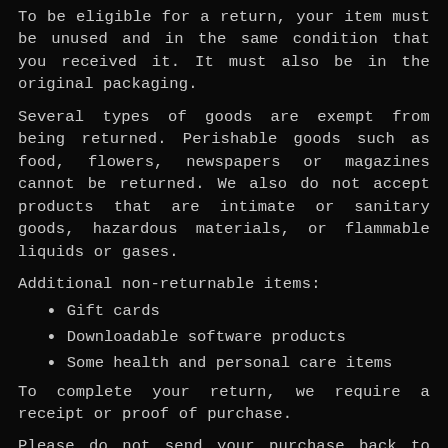To be eligible for a return, your item must be unused and in the same condition that you received it. It must also be in the original packaging.
Several types of goods are exempt from being returned. Perishable goods such as food, flowers, newspapers or magazines cannot be returned. We also do not accept products that are intimate or sanitary goods, hazardous materials, or flammable liquids or gases.
Additional non-returnable items:
Gift cards
Downloadable software products
Some health and personal care items
To complete your return, we require a receipt or proof of purchase.
Please do not send your purchase back to the manufacturer.